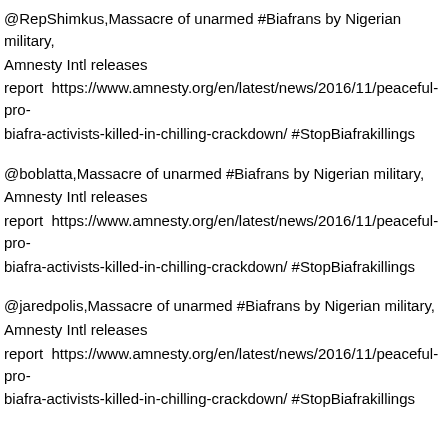@RepShimkus,Massacre of unarmed #Biafrans by Nigerian military, Amnesty Intl releases report  https://www.amnesty.org/en/latest/news/2016/11/peaceful-pro-biafra-activists-killed-in-chilling-crackdown/ #StopBiafrakillings
@boblatta,Massacre of unarmed #Biafrans by Nigerian military, Amnesty Intl releases report  https://www.amnesty.org/en/latest/news/2016/11/peaceful-pro-biafra-activists-killed-in-chilling-crackdown/ #StopBiafrakillings
@jaredpolis,Massacre of unarmed #Biafrans by Nigerian military, Amnesty Intl releases report  https://www.amnesty.org/en/latest/news/2016/11/peaceful-pro-biafra-activists-killed-in-chilling-crackdown/ #StopBiafrakillings